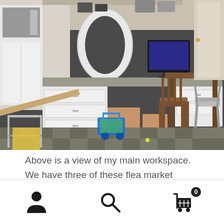[Figure (photo): Interior room/workspace photo showing white drawer cabinets, a large brown table with chairs, a toilet seat lid standing upright on a desk, a computer monitor, toy shopping cart with blue wheels, wooden slide/ramp on the left, laundry cart on the left foreground, and a checkered tile floor. Cluttered workspace with miscellaneous items including boxes and small appliances.]
Above is a view of my main workspace. We have three of these flea market tables and one works well for a large work area. The other desk/cabinet was here when we
Navigation icons: user/account, search, shopping cart with badge 0